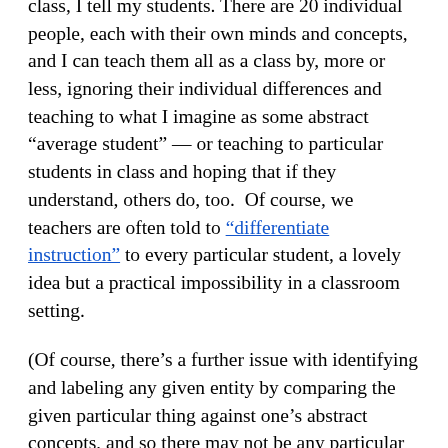class, I tell my students. There are 20 individual people, each with their own minds and concepts, and I can teach them all as a class by, more or less, ignoring their individual differences and teaching to what I imagine as some abstract "average student" — or teaching to particular students in class and hoping that if they understand, others do, too. Of course, we teachers are often told to "differentiate instruction" to every particular student, a lovely idea but a practical impossibility in a classroom setting.
(Of course, there's a further issue with identifying and labeling any given entity by comparing the given particular thing against one's abstract concepts, and so there may not be any particular necessary term for anything: For instance, what is a chair? How define it? At